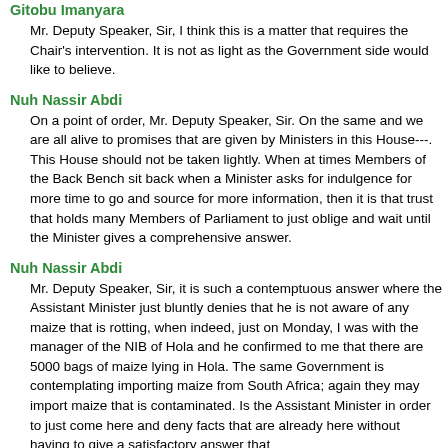Gitobu Imanyara
Mr. Deputy Speaker, Sir, I think this is a matter that requires the Chair's intervention. It is not as light as the Government side would like to believe.
Nuh Nassir Abdi
On a point of order, Mr. Deputy Speaker, Sir. On the same and we are all alive to promises that are given by Ministers in this House---. This House should not be taken lightly. When at times Members of the Back Bench sit back when a Minister asks for indulgence for more time to go and source for more information, then it is that trust that holds many Members of Parliament to just oblige and wait until the Minister gives a comprehensive answer.
Nuh Nassir Abdi
Mr. Deputy Speaker, Sir, it is such a contemptuous answer where the Assistant Minister just bluntly denies that he is not aware of any maize that is rotting, when indeed, just on Monday, I was with the manager of the NIB of Hola and he confirmed to me that there are 5000 bags of maize lying in Hola. The same Government is contemplating importing maize from South Africa; again they may import maize that is contaminated. Is the Assistant Minister in order to just come here and deny facts that are already here without having to give a satisfactory answer that